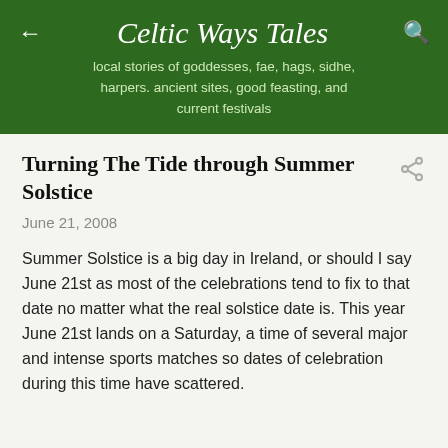Celtic Ways Tales — local stories of goddesses, fae, hags, sidhe, harpers. ancient sites, good feasting, and current festivals
Turning The Tide through Summer Solstice
June 21, 2008
Summer Solstice is a big day in Ireland, or should I say June 21st as most of the celebrations tend to fix to that date no matter what the real solstice date is. This year June 21st lands on a Saturday, a time of several major and intense sports matches so dates of celebration during this time have scattered.